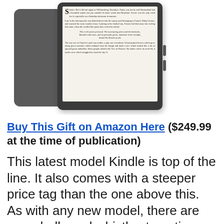[Figure (photo): Amazon Kindle Oasis e-reader device shown from front and back, displaying a page from a book on its e-ink screen]
Buy This Gift on Amazon Here ($249.99 at the time of publication)
This latest model Kindle is top of the line. It also comes with a steeper price tag than the one above this. As with any new model, there are more bells and whistles to entice you and enhance her reading experience